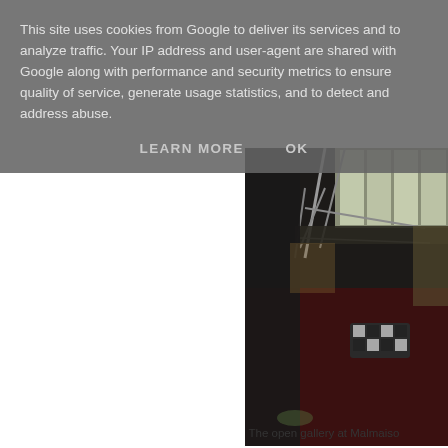This site uses cookies from Google to deliver its services and to analyze traffic. Your IP address and user-agent are shared with Google along with performance and security metrics to ensure quality of service, generate usage statistics, and to detect and address abuse.
LEARN MORE    OK
[Figure (photo): Interior photo of an open gallery at Malmaison, showing a multi-level space with metal railings/scaffolding, large windows, dark red/maroon carpet, and a patterned sofa/seating area in the middle ground.]
The open gallery at Malmaiso